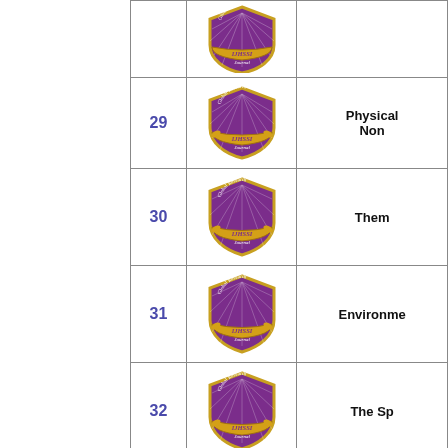| # | Logo | Title |
| --- | --- | --- |
|  |  |  |
| 29 | [IJHSSI Journal badge] | Physical
Non |
| 30 | [IJHSSI Journal badge] | Them |
| 31 | [IJHSSI Journal badge] | Environme |
| 32 | [IJHSSI Journal badge] | The Sp |
| 33 | [IJHSSI Journal badge] | The W
O |